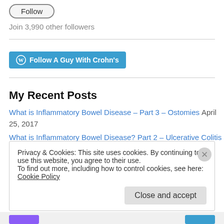[Figure (other): Follow button, rounded rectangle with border]
Join 3,990 other followers
[Figure (other): WordPress Follow A Guy With Crohn's button]
My Recent Posts
What is Inflammatory Bowel Disease – Part 3 – Ostomies April 25, 2017
What is Inflammatory Bowel Disease? Part 2 – Ulcerative Colitis August 4, 2016
Privacy & Cookies: This site uses cookies. By continuing to use this website, you agree to their use.
To find out more, including how to control cookies, see here: Cookie Policy
Close and accept